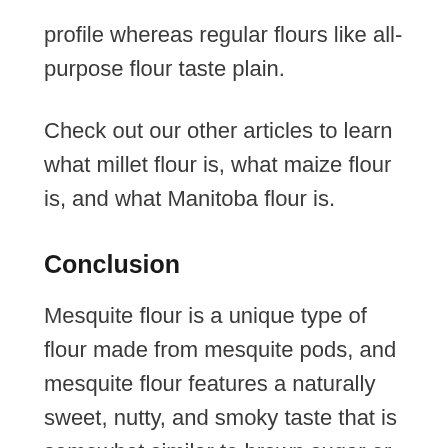profile whereas regular flours like all-purpose flour taste plain.
Check out our other articles to learn what millet flour is, what maize flour is, and what Manitoba flour is.
Conclusion
Mesquite flour is a unique type of flour made from mesquite pods, and mesquite flour features a naturally sweet, nutty, and smoky taste that is somewhat similar to brown sugar or molasses.